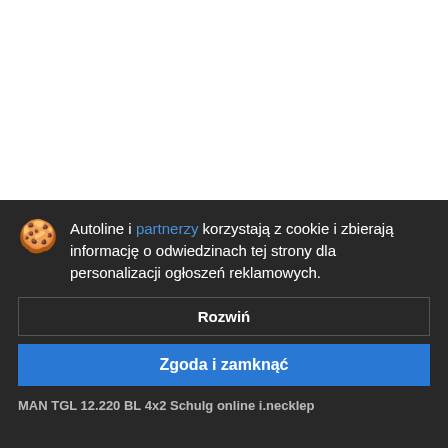[Figure (screenshot): White background area representing obscured webpage content above the cookie banner]
Autoline i partnerzy korzystają z cookie i zbierają informację o odwiedzinach tej strony dla personalizacji ogłoszeń reklamowych.
Rozwiń
Zgoda i zamknąć
MAN TGL 12.220 BL 4x2 Schulg online i.necklep